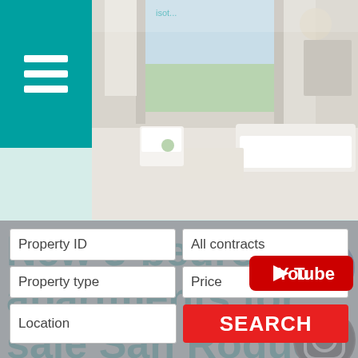[Figure (photo): Interior photo of a modern apartment/house with white furniture, open terrace door showing greenery outside, chandelier, living room setup]
New 3-bedroom apartments for sale San Roque Club New development Apartments
[Figure (logo): Facebook thumbs-up like icon (blue circle with white thumbs up)]
[Figure (logo): Instagram icon (black circle with camera outline)]
[Figure (logo): YouTube logo (red rectangle with white play button and 'YouTube' text)]
Property ID
All contracts
Property type
Price
Location
SEARCH